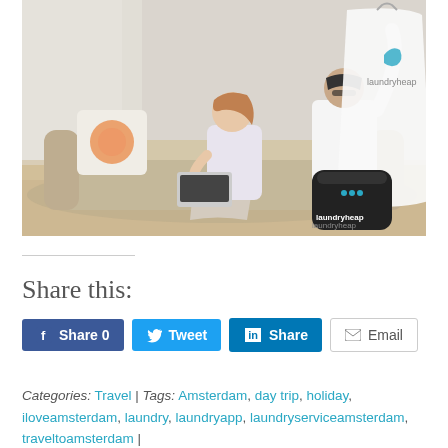[Figure (photo): A woman relaxing on a couch with a laptop while a man holds up dry-cleaned clothing in a laundryheap garment bag. A laundryheap branded bag sits on the floor.]
Share this:
Share 0  Tweet  Share  Email
Categories: Travel | Tags: Amsterdam, day trip, holiday, iloveamsterdam, laundry, laundryapp, laundryserviceamsterdam, traveltoamsterdam |